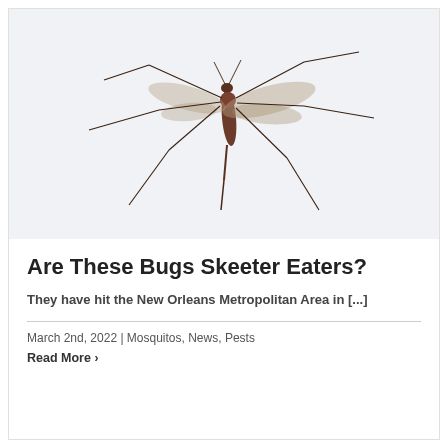[Figure (photo): Close-up photo of a crane fly (daddy long-legs mosquito) on a white background, showing long thin legs, narrow body, and wings spread out.]
Are These Bugs Skeeter Eaters?
They have hit the New Orleans Metropolitan Area in [...]
March 2nd, 2022 | Mosquitos, News, Pests
Read More >